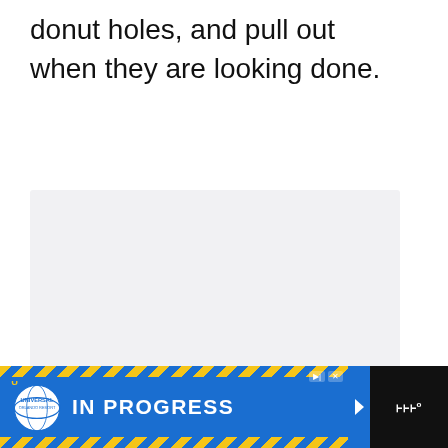donut holes, and pull out when they are looking done.
[Figure (photo): Large light gray rectangular image placeholder area]
[Figure (screenshot): Universal Orlando Resort advertisement banner with blue background, yellow diagonal stripes on top and bottom borders, Universal globe logo, and text IN PROGRESS. Sidebar shows heart button with teal background, count of 10, and share button.]